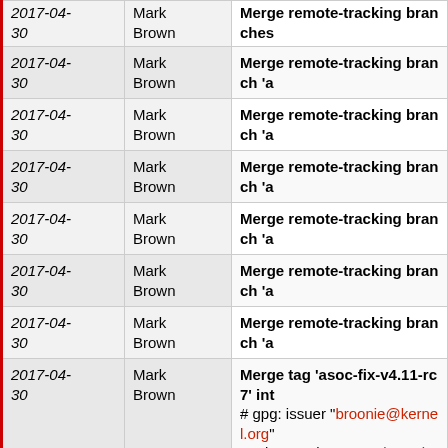| Date | Author | Commit Message |
| --- | --- | --- |
| 2017-04-30 | Mark Brown | Merge remote-tracking branches |
| 2017-04-30 | Mark Brown | Merge remote-tracking branch 'a |
| 2017-04-30 | Mark Brown | Merge remote-tracking branch 'a |
| 2017-04-30 | Mark Brown | Merge remote-tracking branch 'a |
| 2017-04-30 | Mark Brown | Merge remote-tracking branch 'a |
| 2017-04-30 | Mark Brown | Merge remote-tracking branch 'a |
| 2017-04-30 | Mark Brown | Merge remote-tracking branch 'a |
| 2017-04-30 | Mark Brown | Merge tag 'asoc-fix-v4.11-rc7' int
# gpg: issuer "broonie@kernel.org"
... aka "Mark Brown <broonie@ker |
| 2017-04-26 | Mark Brown | Merge remote-tracking branches |
| 2017-04-26 | Mark Brown | Merge remote-tracking branches |
| 2017-04- | Mark | Merge remote-tracking branches |